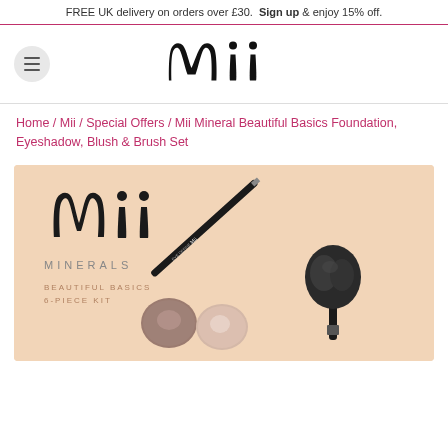FREE UK delivery on orders over £30. Sign up & enjoy 15% off.
[Figure (logo): Mii brand logo in black script lettering]
Home / Mii / Special Offers / Mii Mineral Beautiful Basics Foundation, Eyeshadow, Blush & Brush Set
[Figure (photo): Mii Minerals Beautiful Basics 6-Piece Kit product photo on peach/nude background showing eyeshadow pans, eye liner pencil, and a brush]